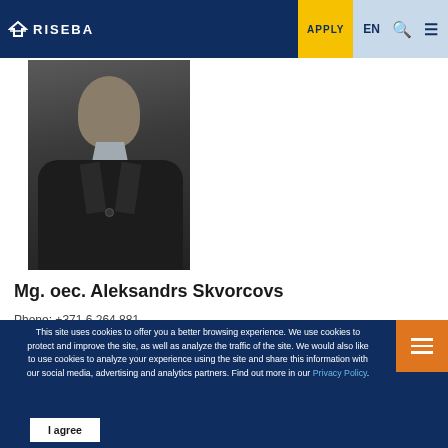RISEBA | APPLY | EN
[Figure (photo): Portrait photo of a man in a dark suit with light shirt, dark background]
Mg. oec. Aleksandrs Skvorcovs
This site uses cookies to offer you a better browsing experience. We use cookies to protect and improve the site, as well as analyze the traffic of the site. We would also like to use cookies to analyze your experience using the site and share this information with our social media, advertising and analytics partners. Find out more in our Privacy Policy.
I agree